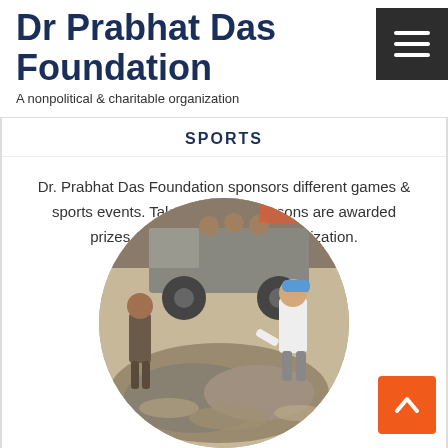Dr Prabhat Das Foundation
A nonpolitical & charitable organization
SPORTS
Dr. Prabhat Das Foundation sponsors different games & sports events. Talented sports persons are awarded prizes & certificates by this organization.
[Figure (photo): Circular photo showing people cleaning up trash/debris near a truck outdoors]